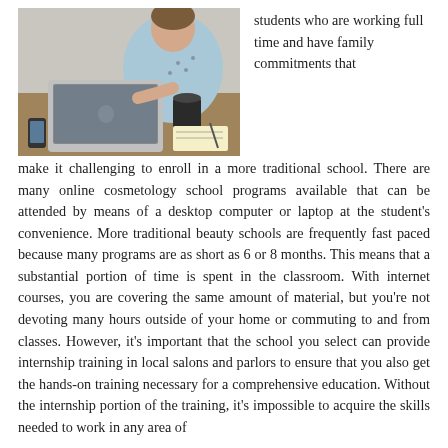[Figure (photo): A person working on a laptop computer at a desk, with a coffee cup and papers nearby.]
students who are working full time and have family commitments that make it challenging to enroll in a more traditional school. There are many online cosmetology school programs available that can be attended by means of a desktop computer or laptop at the student's convenience. More traditional beauty schools are frequently fast paced because many programs are as short as 6 or 8 months. This means that a substantial portion of time is spent in the classroom. With internet courses, you are covering the same amount of material, but you're not devoting many hours outside of your home or commuting to and from classes. However, it's important that the school you select can provide internship training in local salons and parlors to ensure that you also get the hands-on training necessary for a comprehensive education. Without the internship portion of the training, it's impossible to acquire the skills needed to work in any area of